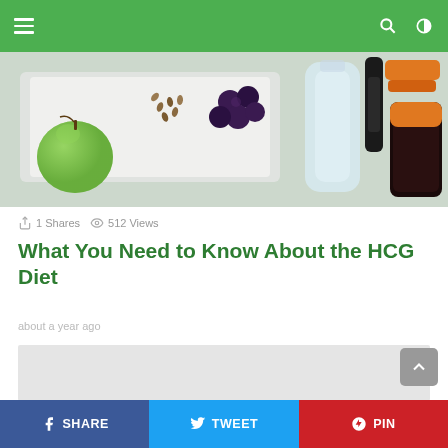Navigation bar with menu, search, and dark mode toggle
[Figure (photo): Health and fitness items: green apple, seeds, dark berries on a white cutting board, glass bottle of water, hand grip exercisers, jump rope handles on a light surface]
1 Shares   512 Views
What You Need to Know About the HCG Diet
about a year ago
[Figure (other): Advertisement placeholder (gray box)]
SHARE   TWEET   PIN